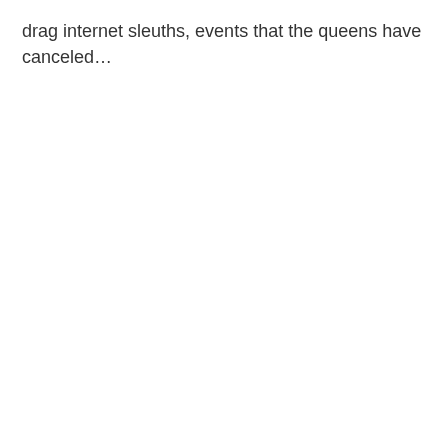drag internet sleuths, events that the queens have canceled…